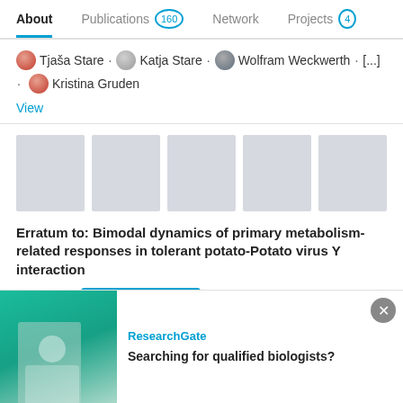About | Publications 160 | Network | Projects 4
Tjaša Stare · Katja Stare · Wolfram Weckwerth · [...] · Kristina Gruden
View
[Figure (other): Five gray placeholder image thumbnails in a row]
Erratum to: Bimodal dynamics of primary metabolism-related responses in tolerant potato-Potato virus Y interaction
Article   Full-text available   Advertisement
[Figure (other): ResearchGate advertisement banner: teal background with person, text 'ResearchGate' and 'Searching for qualified biologists?']